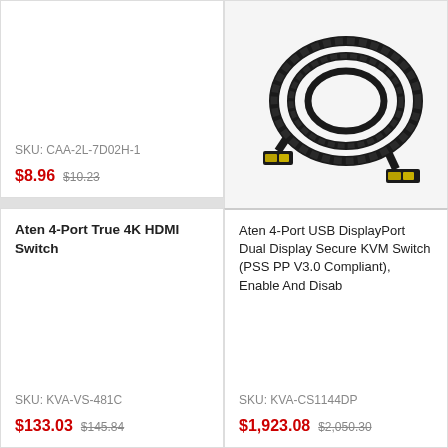SKU: CAA-2L-7D02H-1
$8.96  $10.23
[Figure (photo): Photo of a coiled black HDMI cable with gold-tipped connectors]
Aten 3M High Speed HDMI Cable With Ethernet. Support 4K UHD DCI, Up To 4096 X 2160 @ 60Hz
SKU: CAA-2L-7D03H
$10.20  $11.64
Aten 4-Port True 4K HDMI Switch
SKU: KVA-VS-481C
$133.03  $145.84
Aten 4-Port USB DisplayPort Dual Display Secure KVM Switch (PSS PP V3.0 Compliant), Enable And Disab
SKU: KVA-CS1144DP
$1,923.08  $2,050.30